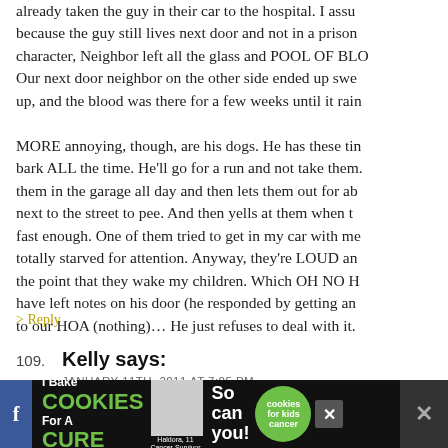already taken the guy in their car to the hospital. I assu because the guy still lives next door and not in a prison character, Neighbor left all the glass and POOL OF BLO Our next door neighbor on the other side ended up swe up, and the blood was there for a few weeks until it rain MORE annoying, though, are his dogs. He has these tin bark ALL the time. He'll go for a run and not take them. them in the garage all day and then lets them out for ab next to the street to pee. And then yells at them when t fast enough. One of them tried to get in my car with me totally starved for attention. Anyway, they're LOUD an the point that they wake my children. Which OH NO H have left notes on his door (he responded by getting an to our HOA (nothing)… He just refuses to deal with it.
> Reply
109. Kelly says:
JANUARY 11TH, 2011 AT 7:05 PM
[Figure (other): Advertisement banner at bottom of page: 'I Bake COOKIES For A CURE' with image of girl and text 'So can you!' with cookies for kids cancer logo, close button, and social media icons.]